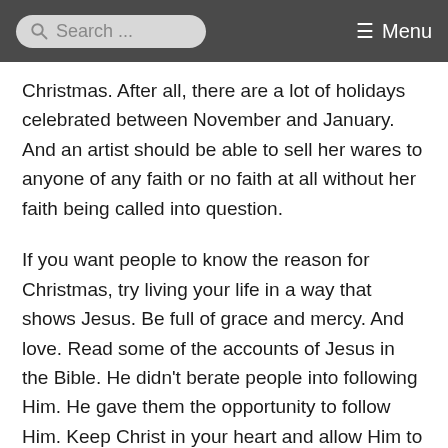Search ... Menu
Christmas. After all, there are a lot of holidays celebrated between November and January. And an artist should be able to sell her wares to anyone of any faith or no faith at all without her faith being called into question.
If you want people to know the reason for Christmas, try living your life in a way that shows Jesus. Be full of grace and mercy. And love. Read some of the accounts of Jesus in the Bible. He didn't berate people into following Him. He gave them the opportunity to follow Him. Keep Christ in your heart and allow Him to shine out through you. I pray with the Apostle Paul “ that Christ may dwell in your